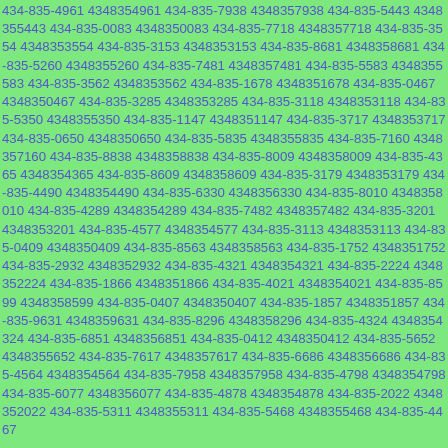434-835-4961 4348354961 434-835-7938 4348357938 434-835-5443 4348355443 434-835-0083 4348350083 434-835-7718 4348357718 434-835-3554 4348353554 434-835-3153 4348353153 434-835-8681 4348358681 434-835-5260 4348355260 434-835-7481 4348357481 434-835-5583 4348355583 434-835-3562 4348353562 434-835-1678 4348351678 434-835-0467 4348350467 434-835-3285 4348353285 434-835-3118 4348353118 434-835-5350 4348355350 434-835-1147 4348351147 434-835-3717 4348353717 434-835-0650 4348350650 434-835-5835 4348355835 434-835-7160 4348357160 434-835-8838 4348358838 434-835-8009 4348358009 434-835-4365 4348354365 434-835-8609 4348358609 434-835-3179 4348353179 434-835-4490 4348354490 434-835-6330 4348356330 434-835-8010 4348358010 434-835-4289 4348354289 434-835-7482 4348357482 434-835-3201 4348353201 434-835-4577 4348354577 434-835-3113 4348353113 434-835-0409 4348350409 434-835-8563 4348358563 434-835-1752 4348351752 434-835-2932 4348352932 434-835-4321 4348354321 434-835-2224 4348352224 434-835-1866 4348351866 434-835-4021 4348354021 434-835-8599 4348358599 434-835-0407 4348350407 434-835-1857 4348351857 434-835-9631 4348359631 434-835-8296 4348358296 434-835-4324 4348354324 434-835-6851 4348356851 434-835-0412 4348350412 434-835-5652 4348355652 434-835-7617 4348357617 434-835-6686 4348356686 434-835-4564 4348354564 434-835-7958 4348357958 434-835-4798 4348354798 434-835-6077 4348356077 434-835-4878 4348354878 434-835-2022 4348352022 434-835-5311 4348355311 434-835-5468 4348355468 434-835-4467